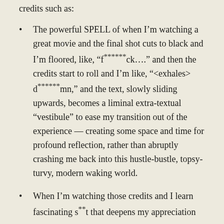credits such as:
The powerful SPELL of when I’m watching a great movie and the final shot cuts to black and I’m floored, like, “f******ck….” and then the credits start to roll and I’m like, “<exhales> d******mn,” and the text, slowly sliding upwards, becomes a liminal extra-textual “vestibule” to ease my transition out of the experience — creating some space and time for profound reflection, rather than abruptly crashing me back into this hustle-bustle, topsy-turvy, modern waking world.
When I’m watching those credits and I learn fascinating s**t that deepens my appreciation